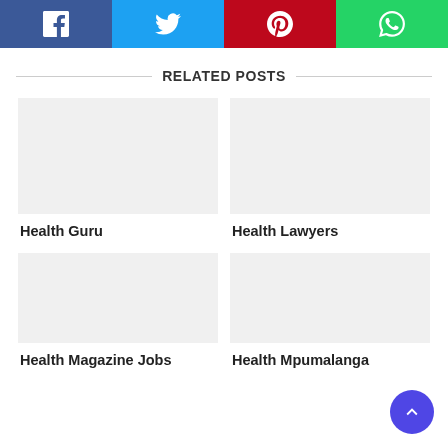[Figure (infographic): Social share bar with four buttons: Facebook (dark blue), Twitter (light blue), Pinterest (red), WhatsApp (green)]
RELATED POSTS
Health Guru
Health Lawyers
Health Magazine Jobs
Health Mpumalanga